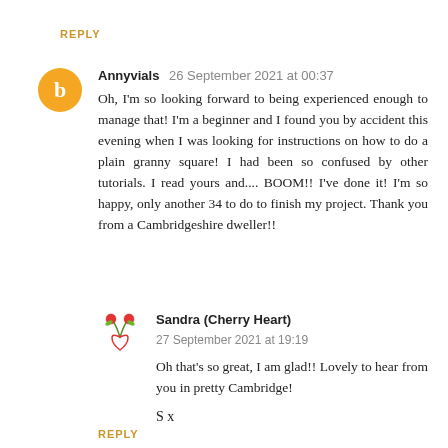REPLY
Annyvials  26 September 2021 at 00:37
Oh, I'm so looking forward to being experienced enough to manage that! I'm a beginner and I found you by accident this evening when I was looking for instructions on how to do a plain granny square! I had been so confused by other tutorials. I read yours and.... BOOM!! I've done it! I'm so happy, only another 34 to do to finish my project. Thank you from a Cambridgeshire dweller!!
Sandra (Cherry Heart)
27 September 2021 at 19:19
Oh that's so great, I am glad!! Lovely to hear from you in pretty Cambridge!
S x
REPLY